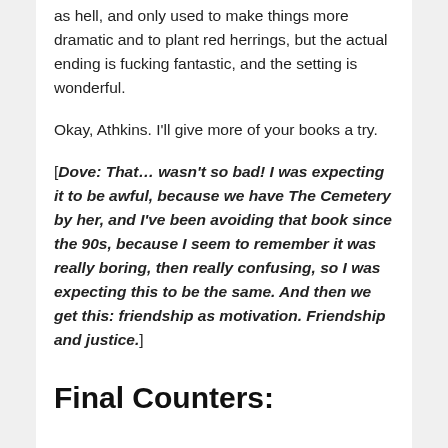as hell, and only used to make things more dramatic and to plant red herrings, but the actual ending is fucking fantastic, and the setting is wonderful.
Okay, Athkins. I'll give more of your books a try.
[Dove: That... wasn't so bad! I was expecting it to be awful, because we have The Cemetery by her, and I've been avoiding that book since the 90s, because I seem to remember it was really boring, then really confusing, so I was expecting this to be the same. And then we get this: friendship as motivation. Friendship and justice.]
Final Counters: